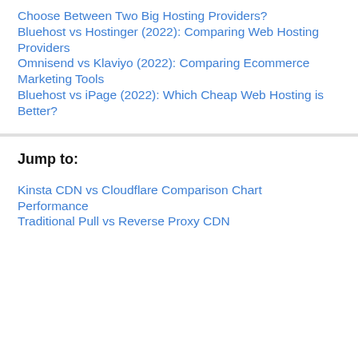Choose Between Two Big Hosting Providers?
Bluehost vs Hostinger (2022): Comparing Web Hosting Providers
Omnisend vs Klaviyo (2022): Comparing Ecommerce Marketing Tools
Bluehost vs iPage (2022): Which Cheap Web Hosting is Better?
Jump to:
Kinsta CDN vs Cloudflare Comparison Chart
Performance
Traditional Pull vs Reverse Proxy CDN